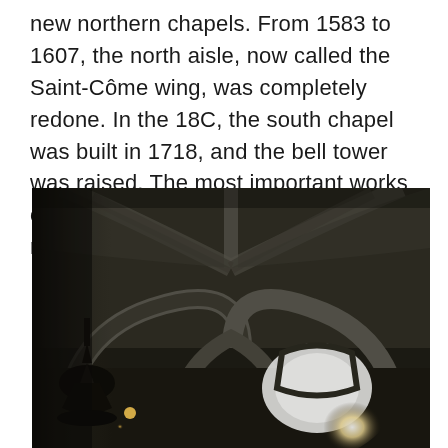new northern chapels. From 1583 to 1607, the north aisle, now called the Saint-Côme wing, was completely redone. In the 18C, the south chapel was built in 1718, and the bell tower was raised. The most important works of this century consisted in the reconstruction of the facade.
[Figure (photo): Interior photograph of a Gothic church showing ribbed stone vaulting, pointed arches, and dramatic lighting. A dark sculpture or chandelier is visible on the left, and a bright window illuminates the right side of the image.]